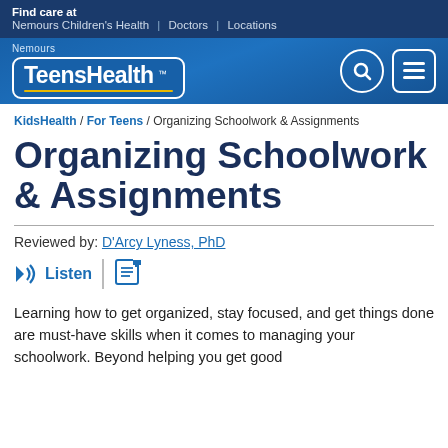Find care at Nemours Children's Health | Doctors | Locations
[Figure (logo): Nemours TeensHealth logo with search and menu icons on blue gradient background]
KidsHealth / For Teens / Organizing Schoolwork & Assignments
Organizing Schoolwork & Assignments
Reviewed by: D'Arcy Lyness, PhD
Listen
Learning how to get organized, stay focused, and get things done are must-have skills when it comes to managing your schoolwork. Beyond helping you get good